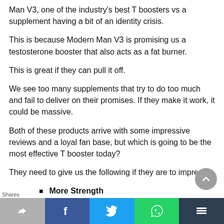Man V3, one of the industry's best T boosters vs a supplement having a bit of an identity crisis.
This is because Modern Man V3 is promising us a testosterone booster that also acts as a fat burner.
This is great if they can pull it off.
We see too many supplements that try to do too much and fail to deliver on their promises. If they make it work, it could be massive.
Both of these products arrive with some impressive reviews and a loyal fan base, but which is going to be the most effective T booster today?
They need to give us the following if they are to impress:
More Strength